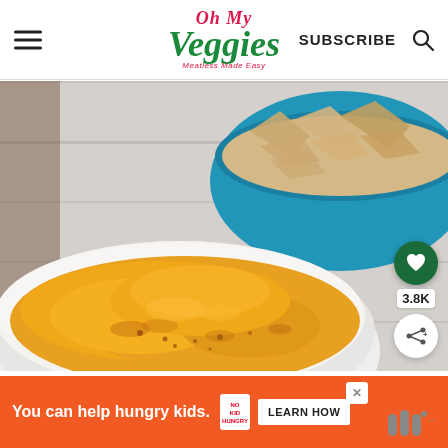Oh My Veggies — Meatless Made Easy | SUBSCRIBE
[Figure (photo): Close-up photo of golden-yellow pumpkin hummus dip in a white ceramic bowl in the foreground, with a blue ceramic bowl filled with pita chips/crackers in the background, all on a white wooden surface.]
3.8K
You can help hungry kids. NO KID HUNGRY LEARN HOW